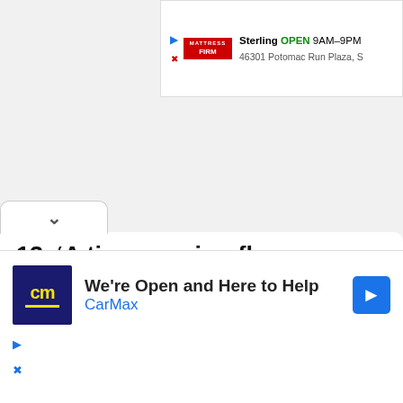[Figure (screenshot): Mattress Firm ad banner showing Sterling location, OPEN 9AM-9PM, 46301 Potomac Run Plaza]
13. ‘A time-varying flux causes an induced electromotive force’. What law does this statement represent?
a. Ampere’s law
b. Faraday’s law
c. Lenz’s law
d. Field form of Ohm’s law
[Figure (screenshot): CarMax ad banner: We're Open and Here to Help, CarMax]